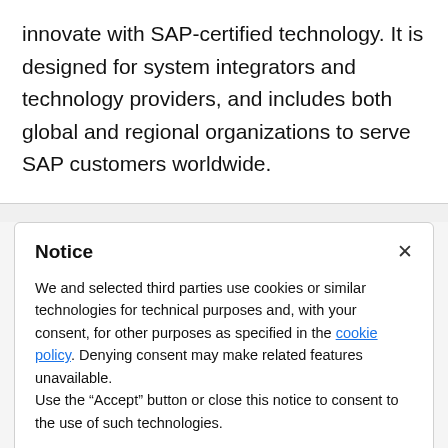innovate with SAP-certified technology. It is designed for system integrators and technology providers, and includes both global and regional organizations to serve SAP customers worldwide.
Notice
We and selected third parties use cookies or similar technologies for technical purposes and, with your consent, for other purposes as specified in the cookie policy. Denying consent may make related features unavailable.
Use the "Accept" button or close this notice to consent to the use of such technologies.
Accept
Learn more and customise